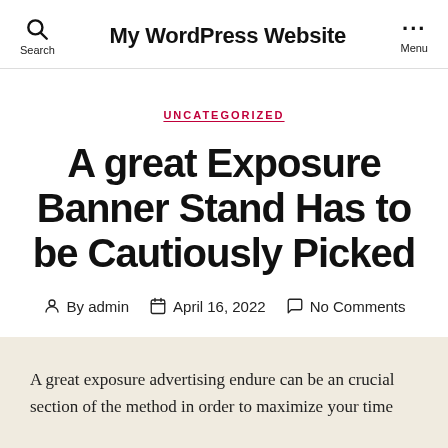My WordPress Website
UNCATEGORIZED
A great Exposure Banner Stand Has to be Cautiously Picked
By admin   April 16, 2022   No Comments
A great exposure advertising endure can be an crucial section of the method in order to maximize your time